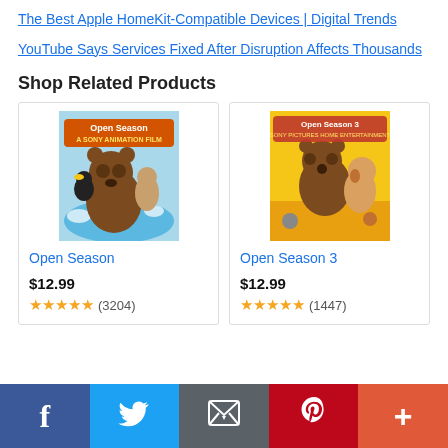The Best Apple HomeKit-Compatible Devices | Digital Trends
YouTube Says Services Fixed After Disruption Affects Thousands
Shop Related Products
[Figure (illustration): Product image for Open Season animated movie DVD cover]
Open Season
$12.99
★★★★★ (3204)
[Figure (illustration): Product image for Open Season 3 animated movie DVD cover]
Open Season 3
$12.99
★★★★★ (1447)
f  Twitter  Email  Pinterest  More